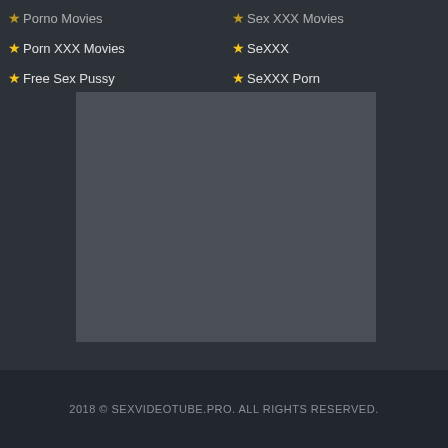★Porno Movies (truncated)
★Sex XXX Movies (truncated)
★Porn XXX Movies
★SeXXX
★Free Sex Pussy
★SeXXX Porn
[Figure (other): Gray placeholder advertisement box]
2018 © SEXVIDEOTUBE.PRO. ALL RIGHTS RESERVED.